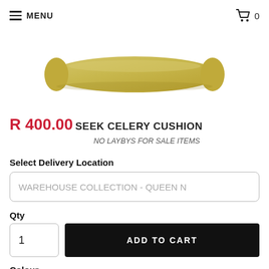≡ MENU  🛒 0
[Figure (photo): A yellow/olive colored rectangular cushion/bolster pillow on a white background]
R 400.00  SEEK CELERY CUSHION
NO LAYBYS FOR SALE ITEMS
Select Delivery Location
WAREHOUSE COLLECTION - QUEEN N
Qty
1
ADD TO CART
Colour
Seek Celery
Size